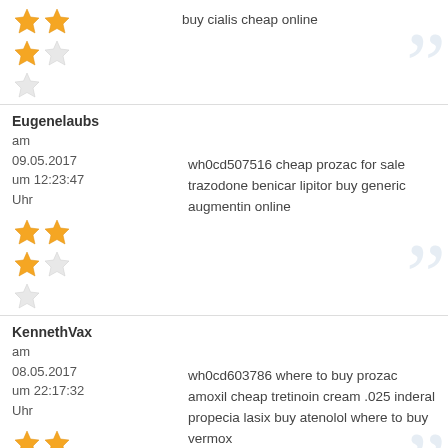buy cialis cheap online
[Figure (illustration): Star rating: 2.5 out of 5 stars (two full stars, one half star, two empty stars)]
Eugenelaubs am 09.05.2017 um 12:23:47 Uhr
wh0cd507516 cheap prozac for sale trazodone benicar lipitor buy generic augmentin online
[Figure (illustration): Star rating: 2.5 out of 5 stars]
KennethVax am 08.05.2017 um 22:17:32 Uhr
wh0cd603786 where to buy prozac amoxil cheap tretinoin cream .025 inderal propecia lasix buy atenolol where to buy vermox
[Figure (illustration): Star rating: partial — two full stars visible, partial row below]